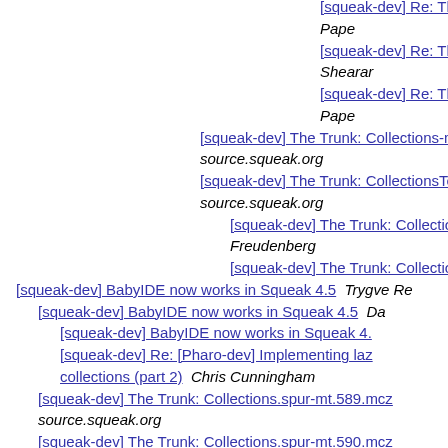[squeak-dev] Re: The Trunk: CollectionsT...  Pape
[squeak-dev] Re: The Trunk: CollectionsT...  Shearar
[squeak-dev] Re: The Trunk: CollectionsT...  Pape
[squeak-dev] The Trunk: Collections-mt.591.mcz  com... source.squeak.org
[squeak-dev] The Trunk: CollectionsTests-mt.228.mcz... source.squeak.org
[squeak-dev] The Trunk: Collections-mt.5...  Freudenberg
[squeak-dev] The Trunk: Collections-mt.5...
[squeak-dev] BabyIDE now works in Squeak 4.5  Trygve Re...
[squeak-dev] BabyIDE now works in Squeak 4.5  Da...
[squeak-dev] BabyIDE now works in Squeak 4....
[squeak-dev] Re: [Pharo-dev] Implementing laz... collections (part 2)  Chris Cunningham
[squeak-dev] The Trunk: Collections.spur-mt.589.mcz... source.squeak.org
[squeak-dev] The Trunk: Collections.spur-mt.590.mcz... source.squeak.org
[squeak-dev] The Trunk: Collections.spur-mt.591.mcz... source.squeak.org
[squeak-dev] Re: BabyIDE now works in Squeak 4.5  Tryv...